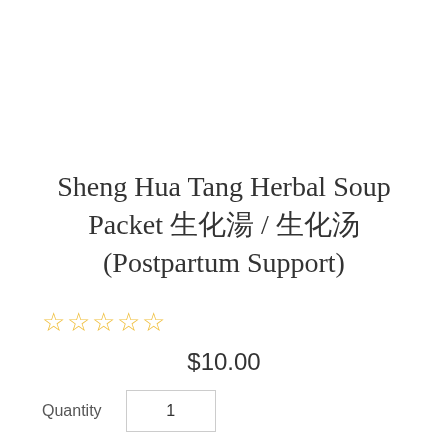Sheng Hua Tang Herbal Soup Packet 生化湯 / 生化汤 (Postpartum Support)
☆☆☆☆☆
$10.00
Quantity  1